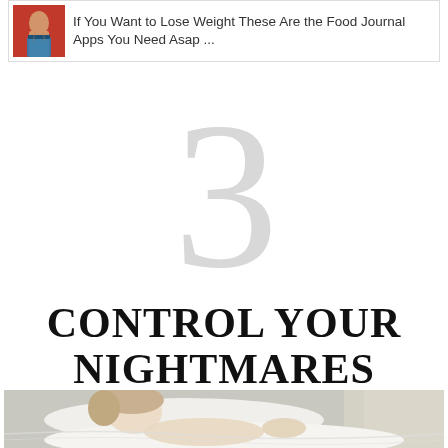[Figure (screenshot): A web article link card with a small thumbnail image of a person's midriff on the left and article title text on the right]
If You Want to Lose Weight These Are the Food Journal Apps You Need Asap ...
3
CONTROL YOUR NIGHTMARES
[Figure (photo): A blurry, low-light photo of a person sleeping in bed, partially covered by white sheets, soft light from a window visible in background]